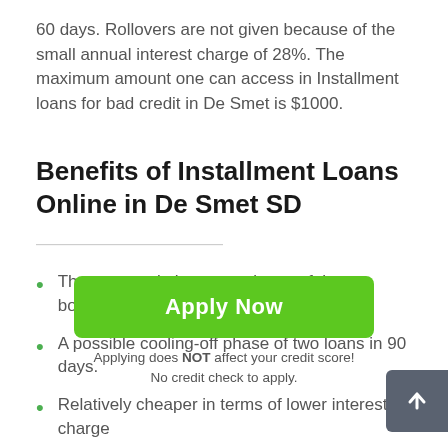60 days. Rollovers are not given because of the small annual interest charge of 28%. The maximum amount one can access in Installment loans for bad credit in De Smet is $1000.
Benefits of Installment Loans Online in De Smet SD
The terms suit the convenience of the borrowers.
A possible cooling-off phase of two loans in 90 days.
Relatively cheaper in terms of lower interest charges.
Apply Now
Applying does NOT affect your credit score! No credit check to apply.